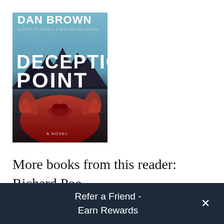[Figure (illustration): Book cover of 'Deception Point' by Dan Brown. Cover shows icy blue texture at top with dark mountain silhouettes, large white bold text 'DECEPTION POINT', and red phoenix/eagle imagery at the bottom. Text reads 'DAN BROWN', 'AUTHOR OF ANGELS & DEMONS AND ORIGIN', 'DECEPTION POINT', 'A NOVEL'.]
More books from this reader:
Richard Poe
Refer a Friend - Earn Rewards